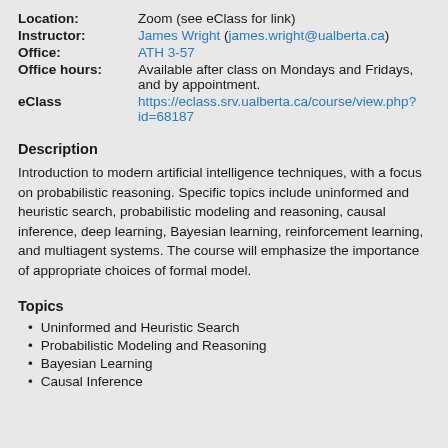| Location: | Zoom (see eClass for link) |
| Instructor: | James Wright (james.wright@ualberta.ca) |
| Office: | ATH 3-57 |
| Office hours: | Available after class on Mondays and Fridays, and by appointment. |
| eClass | https://eclass.srv.ualberta.ca/course/view.php?id=68187 |
Description
Introduction to modern artificial intelligence techniques, with a focus on probabilistic reasoning. Specific topics include uninformed and heuristic search, probabilistic modeling and reasoning, causal inference, deep learning, Bayesian learning, reinforcement learning, and multiagent systems. The course will emphasize the importance of appropriate choices of formal model.
Topics
Uninformed and Heuristic Search
Probabilistic Modeling and Reasoning
Bayesian Learning
Causal Inference